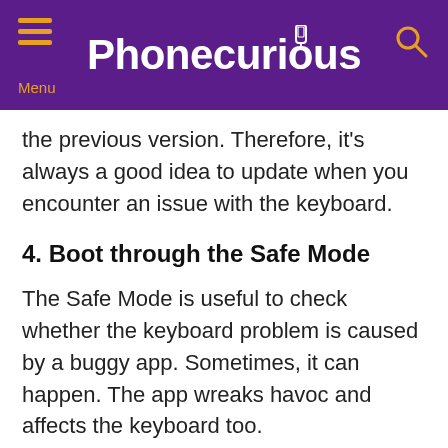Phonecurious
the previous version. Therefore, it's always a good idea to update when you encounter an issue with the keyboard.
4. Boot through the Safe Mode
The Safe Mode is useful to check whether the keyboard problem is caused by a buggy app. Sometimes, it can happen. The app wreaks havoc and affects the keyboard too.